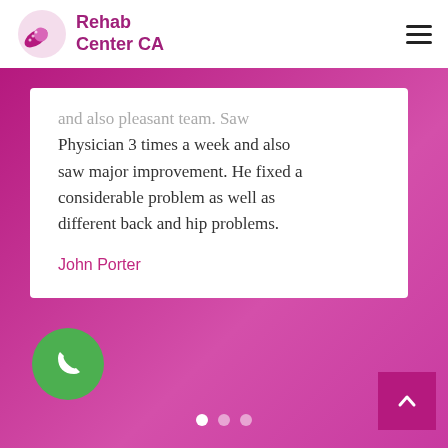Rehab Center CA
and also pleasant team. Saw Physician 3 times a week and also saw major improvement. He fixed a considerable problem as well as different back and hip problems.
John Porter
[Figure (other): Green phone call button (WhatsApp-style floating button)]
[Figure (other): Carousel navigation dots (3 dots, first active)]
[Figure (other): Scroll-to-top button (pink/magenta square with upward chevron)]